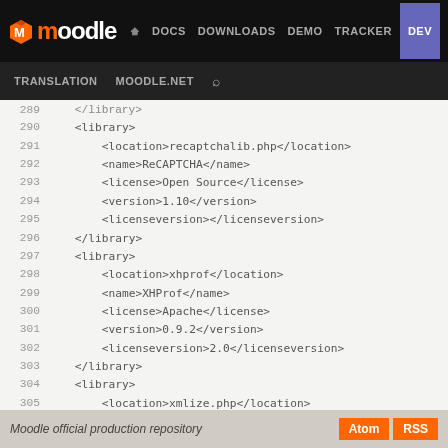moodle | DOCS DOWNLOADS DEMO TRACKER DEV | TRANSLATION MOODLE.NET
289  </library>
290  <library>
291      <location>recaptchalib.php</location>
292      <name>ReCAPTCHA</name>
293      <license>Open Source</license>
294      <version>1.10</version>
295      <licenseversion></licenseversion>
296  </library>
297  <library>
298      <location>xhprof</location>
299      <name>XHProf</name>
300      <license>Apache</license>
301      <version>0.9.2</version>
302      <licenseversion>2.0</licenseversion>
303  </library>
304  <library>
305      <location>xmlize.php</location>
306      <name>XMLize</name>
307      <license>GPL</license>
308      <version>1.0</version>
309      <licenseversion>3.0+</licenseversion>
310  </library>
311  </libraries>
Moodle official production repository | Atom | RSS